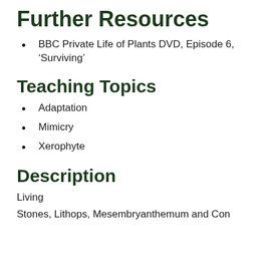Further Resources
BBC Private Life of Plants DVD, Episode 6, ‘Surviving’
Teaching Topics
Adaptation
Mimicry
Xerophyte
Description
Living
Stones, Lithops, Mesembryanthemum and Con